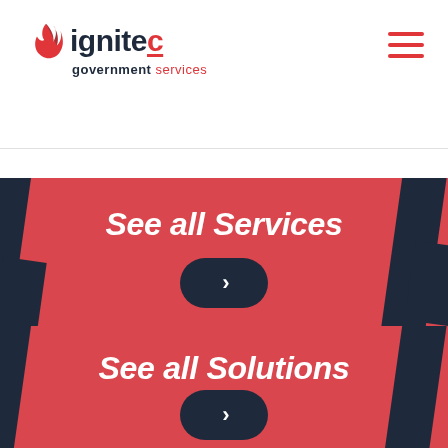[Figure (logo): IgniteC Government Services logo with flame icon, dark navy and red color scheme]
See all Services
[Figure (other): Dark navy rounded rectangle button with right arrow chevron]
See all Solutions